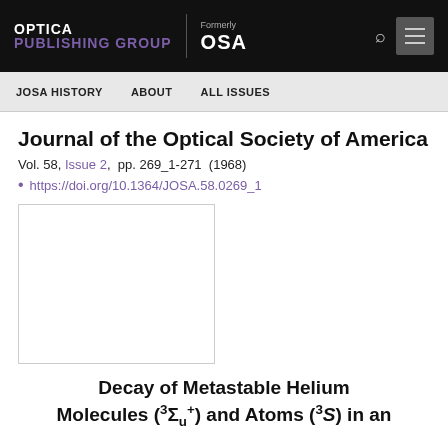OPTICA PUBLISHING GROUP | Formerly OSA
JOSA HISTORY   ABOUT   ALL ISSUES
Journal of the Optical Society of America
Vol. 58, Issue 2, pp. 269_1-271 (1968)
• https://doi.org/10.1364/JOSA.58.0269_1
[Figure (other): Article thumbnail placeholder box (white rectangle with border)]
Decay of Metastable Helium Molecules (³Σu⁺) and Atoms (³S) in an